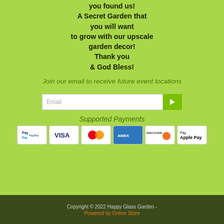you found us! A Secret Garden that you will want to grow with our upscale garden decor! Thank you & God Bless!
Join our email to receive future event locations
[Figure (other): Email input field with submit arrow button]
Supported Payments
[Figure (other): Payment icons: PayPal, Visa, Mastercard, American Express, Discover, Apple Pay]
Copyright © 2022 Happy Glass Garden - Powered by Online Store